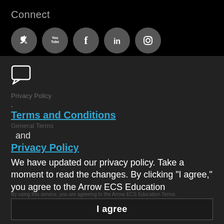Connect
[Figure (illustration): Row of five circular social media icons on black background: Twitter, YouTube, Facebook, LinkedIn, Instagram]
[Figure (illustration): Chat/comment bubble icon (white outline on dark background)]
Privacy Policy
.
Terms and Conditions
General Terms
and
Privacy Policy
We have updated our privacy policy. Take a moment to read the changes. By clicking "I agree," you agree to the Arrow ECS Education
I agree